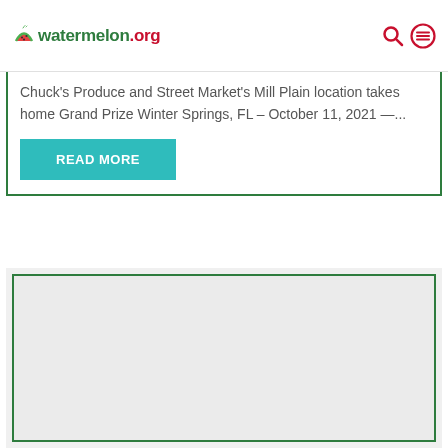watermelon.org
Chuck’s Produce and Street Market’s Mill Plain location takes home Grand Prize Winter Springs, FL – October 11, 2021 —...
READ MORE
[Figure (other): Gray placeholder card with green border]